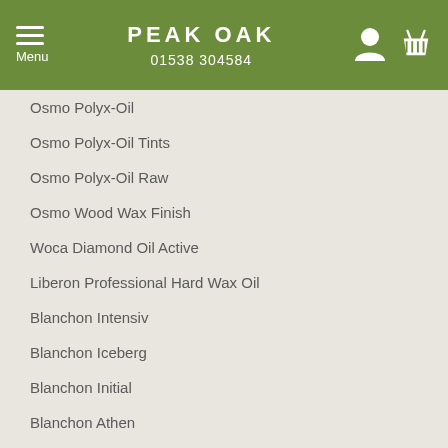PEAK OAK
01538 304584
Osmo Polyx-Oil
Osmo Polyx-Oil Tints
Osmo Polyx-Oil Raw
Osmo Wood Wax Finish
Woca Diamond Oil Active
Liberon Professional Hard Wax Oil
Blanchon Intensiv
Blanchon Iceberg
Blanchon Initial
Blanchon Athen
Blanchon Wood-Ageing Agent
Blanchon Tanned Wood Reactive
Blanchon Primer Prim'Oil